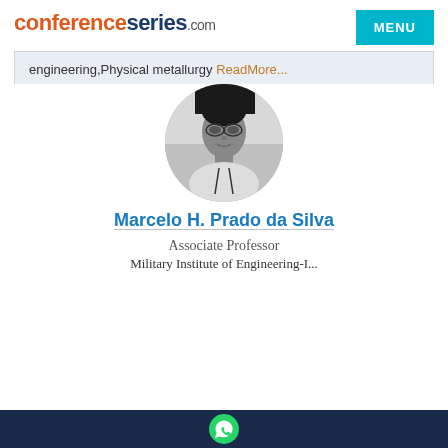conferenceseries.com
engineering,Physical metallurgy ReadMore...
[Figure (photo): Circular black and white portrait photo of Marcelo H. Prado da Silva]
Marcelo H. Prado da Silva
Associate Professor
Military Institute of Engineering-I...
[Figure (logo): WhatsApp icon in bottom navy footer bar]